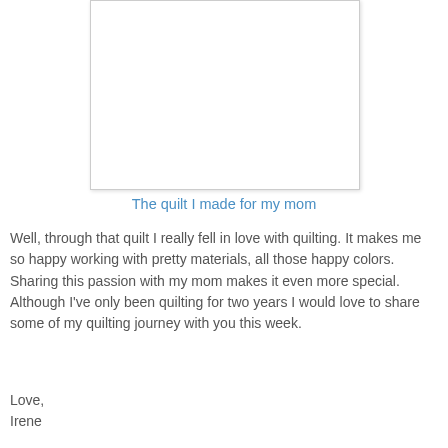[Figure (photo): White rectangular photo placeholder showing the quilt made for her mom]
The quilt I made for my mom
Well, through that quilt I really fell in love with quilting. It makes me so happy working with pretty materials, all those happy colors. Sharing this passion with my mom makes it even more special. Although I've only been quilting for two years I would love to share some of my quilting journey with you this week.
Love,
Irene